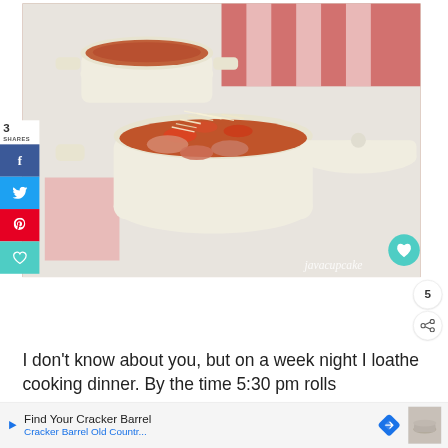[Figure (photo): Two cream-colored mini Dutch oven pots filled with a tomato-based stew/soup garnished with shredded Parmesan cheese, with a red and white checkered cloth in background. Watermark 'javacupcake' visible. Social sharing sidebar on left with Facebook, Twitter, Pinterest and heart buttons. Share count showing 3 SHARES.]
I don't know about you, but on a week night I loathe cooking dinner.  By the time 5:30 pm rolls
Find Your Cracker Barrel
Cracker Barrel Old Countr...